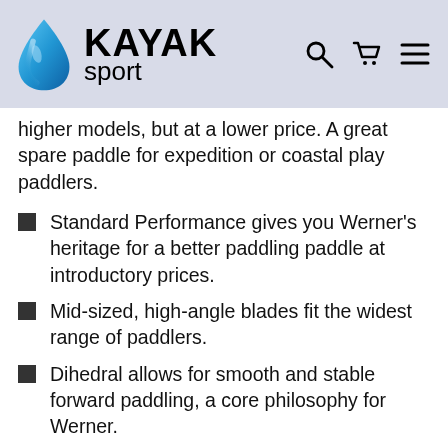KAYAK sport
higher models, but at a lower price. A great spare paddle for expedition or coastal play paddlers.
Standard Performance gives you Werner's heritage for a better paddling paddle at introductory prices.
Mid-sized, high-angle blades fit the widest range of paddlers.
Dihedral allows for smooth and stable forward paddling, a core philosophy for Werner.
Fiberglass reinforced nylon,